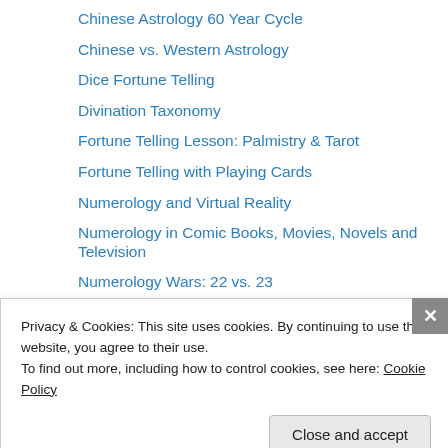Chinese Astrology 60 Year Cycle
Chinese vs. Western Astrology
Dice Fortune Telling
Divination Taxonomy
Fortune Telling Lesson: Palmistry & Tarot
Fortune Telling with Playing Cards
Numerology and Virtual Reality
Numerology in Comic Books, Movies, Novels and Television
Numerology Wars: 22 vs. 23
Palmistry Casimir Stanislav d'Arpentigny's System
Palmistry Major Lines
Palmistry Marks
Palmistry Mounts
Privacy & Cookies: This site uses cookies. By continuing to use this website, you agree to their use.
To find out more, including how to control cookies, see here: Cookie Policy